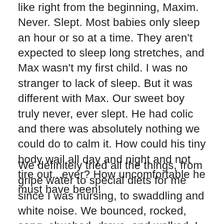like right from the beginning, Maxim. Never. Slept. Most babies only sleep an hour or so at a time. They aren't expected to sleep long stretches, and Max wasn't my first child. I was no stranger to lack of sleep. But it was different with Max. Our sweet boy truly never, ever slept. He had colic and there was absolutely nothing we could do to calm it. How could his tiny body wail all day and night and not tire out...ever? How uncomfortable he must have been!
We definitely tried all the things, from gripe water to special diets for me since I was nursing, to swaddling and white noise. We bounced, rocked, sang, shushed, drove, and walked. I think Maxim cried for his